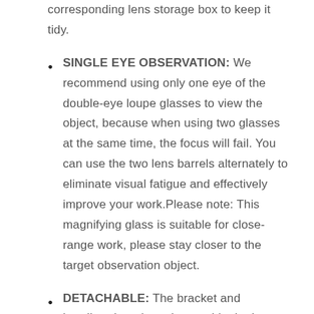corresponding lens storage box to keep it tidy.
SINGLE EYE OBSERVATION: We recommend using only one eye of the double-eye loupe glasses to view the object, because when using two glasses at the same time, the focus will fail. You can use the two lens barrels alternately to eliminate visual fatigue and effectively improve your work.Please note: This magnifying glass is suitable for close-range work, please stay closer to the target observation object.
DETACHABLE: The bracket and headband are interchangeable, both can be worn firmly and reduce fatigue